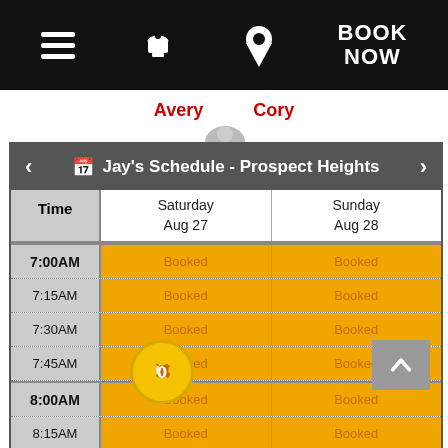[Figure (screenshot): Mobile app navigation bar with hamburger menu, phone icon, location pin icon, and BOOK NOW button on black background]
Avery   Cory
| Time | Saturday
Aug 27 | Sunday
Aug 28 |
| --- | --- | --- |
| 7:00AM | Booked | Booked |
| 7:15AM | Booked | Booked |
| 7:30AM | Booked | Booked |
| 7:45AM | Booked | Booked |
| 8:00AM | Booked | Booked |
| 8:15AM | Booked | Booked |
| 8:30AM | Booked | Booked |
| 8:45AM | Booked | Booked |
| 9:00AM | Booked | Booked |
| 9:15AM | Booked | Booked |